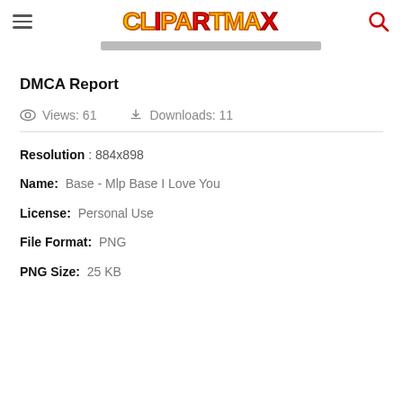ClipartMax header with hamburger menu, logo, and search icon
DMCA Report
Views: 61   Downloads: 11
Resolution : 884x898
Name: Base - Mlp Base I Love You
License: Personal Use
File Format: PNG
PNG Size: 25 KB